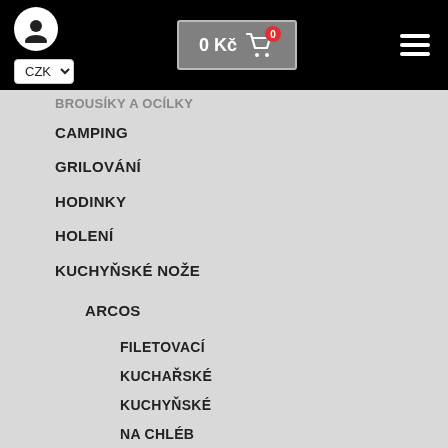0 Kč  0  CZK
BROUSKY A OCÍLKY
CAMPING
GRILOVÁNÍ
HODINKY
HOLENÍ
KUCHYŇSKÉ NOŽE
ARCOS
FILETOVACÍ
KUCHAŘSKÉ
KUCHYŇSKÉ
NA CHLÉB
NA FILETOVÁNÍ RYB
NA MÁSLO
NA RYBY